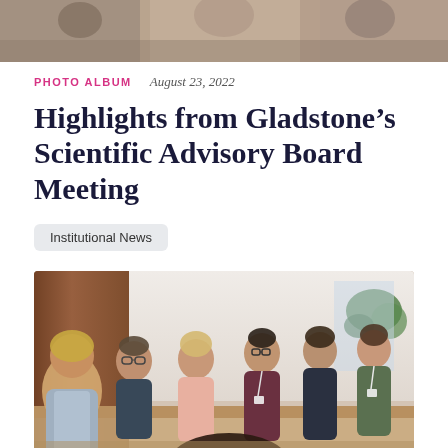[Figure (photo): Top banner photo showing people at a meeting or event, cropped to show upper portion]
PHOTO ALBUM   August 23, 2022
Highlights from Gladstone's Scientific Advisory Board Meeting
Institutional News
[Figure (photo): Group of people seated in chairs in a conference room setting, listening and smiling during a meeting]